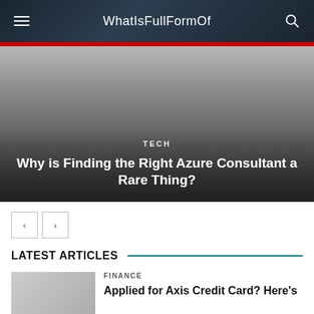WhatIsFullFormOf
[Figure (screenshot): Hero image with gradient gray background and article overlay showing TECH category and title 'Why is Finding the Right Azure Consultant a Rare Thing?']
LATEST ARTICLES
FINANCE
Applied for Axis Credit Card? Here's